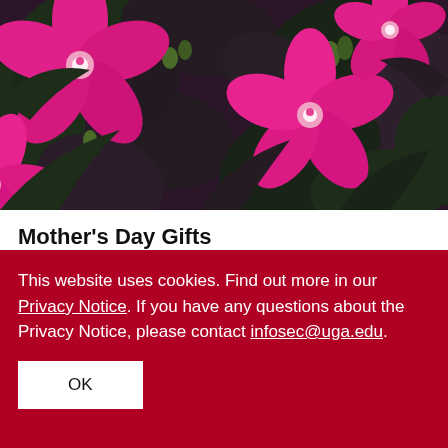[Figure (photo): Close-up photo of bright pink hibiscus flowers with deep dark purple-green foliage in the background]
Mother's Day Gifts
05/05/21 | Maria M. Lameiras
Plants and flowers are popular choices for Mother's Day gifts each year and University of Georgia plant breeders are responsible for many beautiful varieties available in garden stores.
This website uses cookies. Find out more in our Privacy Notice. If you have any questions about the Privacy Notice, please contact infosec@uga.edu.